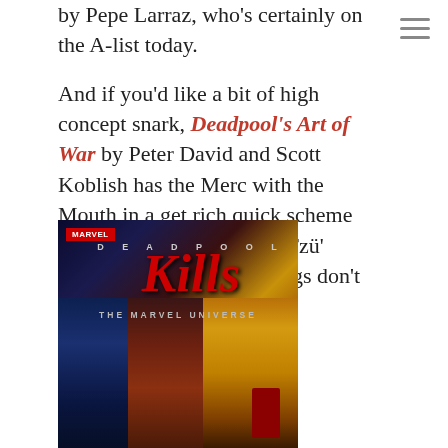by Pepe Larraz, who's certainly on the A-list today.
And if you'd like a bit of high concept snark, Deadpool's Art of War by Peter David and Scott Koblish has the Merc with the Mouth in a get rich quick scheme involving translating Sun Tzü' venerable tome and… things don't go quite as planned.
[Figure (photo): Book cover of 'Deadpool Kills the Marvel Universe' published by Marvel. The cover shows stylized text with the Marvel logo at top left, 'DEADPOOL' in spaced letters, 'KILLS' in large slashed red lettering, and 'THE MARVEL UNIVERSE' below. The background features composite faces of Marvel characters including figures in blue, red/brown tones, and gold/yellow (Iron Man helmet), with a small Deadpool figure in red.]